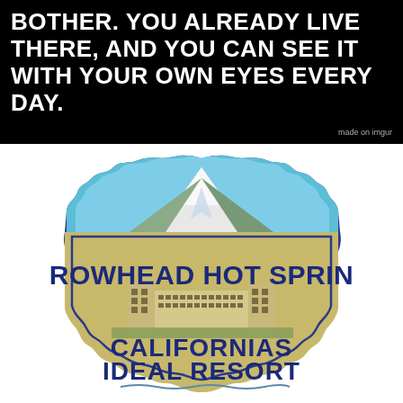[Figure (photo): Black background meme-style image with bold white Impact font text reading: BOTHER. YOU ALREADY LIVE THERE, AND YOU CAN SEE IT WITH YOUR OWN EYES EVERY DAY. Small 'made on imgur' text in lower right corner.]
[Figure (illustration): Vintage luggage label / badge for Arrowhead Hot Springs, California's Ideal Resort. Shield/badge shape with dark blue border. Upper portion shows mountains and blue sky. Middle has large bold text 'ARROWHEAD HOT SPRINGS'. Below that is an illustration of a resort building complex. Bottom text reads 'CALIFORNIAS IDEAL RESORT'.]